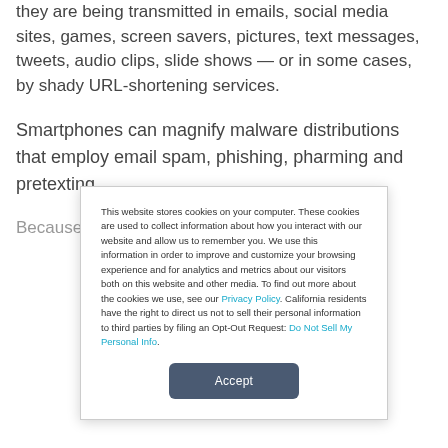they are being transmitted in emails, social media sites, games, screen savers, pictures, text messages, tweets, audio clips, slide shows — or in some cases, by shady URL-shortening services.
Smartphones can magnify malware distributions that employ email spam, phishing, pharming and pretexting.
Because smartphones represent a more intimate
This website stores cookies on your computer. These cookies are used to collect information about how you interact with our website and allow us to remember you. We use this information in order to improve and customize your browsing experience and for analytics and metrics about our visitors both on this website and other media. To find out more about the cookies we use, see our Privacy Policy. California residents have the right to direct us not to sell their personal information to third parties by filing an Opt-Out Request: Do Not Sell My Personal Info.
Accept